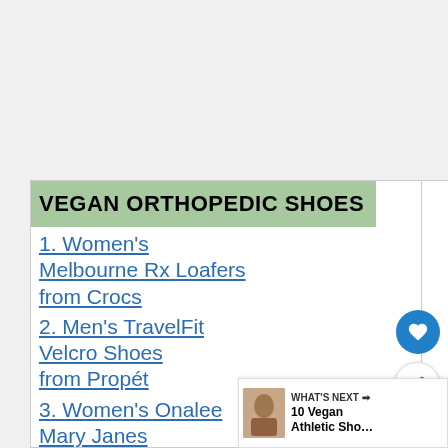VEGAN ORTHOPEDIC SHOES
1. Women's Melbourne Rx Loafers from Crocs
2. Men's TravelFit Velcro Shoes from Propét
3. Women's Onalee Mary Janes by PROPÉT